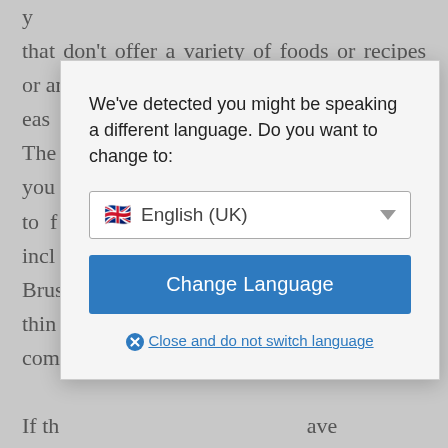that don't offer a variety of foods or recipes or an easy … loss. The … help you … hard to f… ight incl… r or Brus… Just thin… and com… If th… have not worked, give yourself time and try another type. Then try another one. You can learn a lot from these diet programmes. So don't give up, you might just be on your last try! Have you heard a di…
[Figure (screenshot): A modal dialog box overlaying body text. It contains a language detection message 'We've detected you might be speaking a different language. Do you want to change to:', a dropdown selector showing 'English (UK)' with a UK flag, a blue 'Change Language' button, and a link 'Close and do not switch language' with a circle-x icon.]